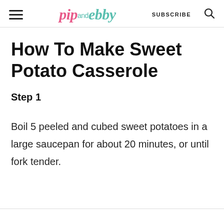pip and ebby — SUBSCRIBE
How To Make Sweet Potato Casserole
Step 1
Boil 5 peeled and cubed sweet potatoes in a large saucepan for about 20 minutes, or until fork tender.